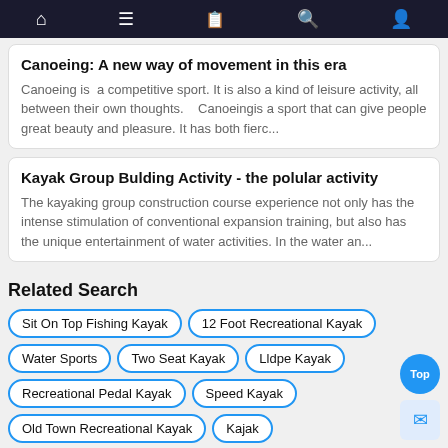[Navigation bar with home, menu, book, search, and user icons]
Canoeing: A new way of movement in this era
Canoeing is  a competitive sport. It is also a kind of leisure activity, all between their own thoughts.   Canoeingis a sport that can give people great beauty and pleasure. It has both fierc...
Kayak Group Bulding Activity - the polular activity
The kayaking group construction course experience not only has the intense stimulation of conventional expansion training, but also has the unique entertainment of water activities. In the water an...
Related Search
Sit On Top Fishing Kayak
12 Foot Recreational Kayak
Water Sports
Two Seat Kayak
Lldpe Kayak
Recreational Pedal Kayak
Speed Kayak
Old Town Recreational Kayak
Kajak
Perception Tandem Kayak
Tandem Sit In Kayak